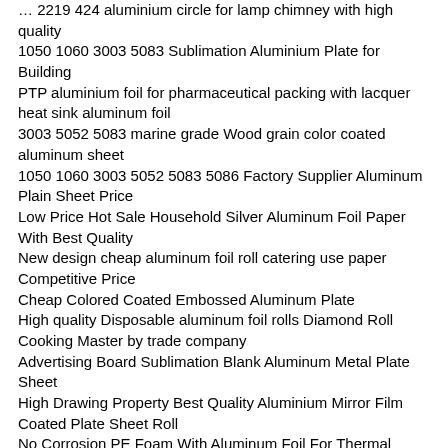… 2219 424 aluminium circle for lamp chimney with high quality
1050 1060 3003 5083 Sublimation Aluminium Plate for Building
PTP aluminium foil for pharmaceutical packing with lacquer
heat sink aluminum foil
3003 5052 5083 marine grade Wood grain color coated aluminum sheet
1050 1060 3003 5052 5083 5086 Factory Supplier Aluminum Plain Sheet Price
Low Price Hot Sale Household Silver Aluminum Foil Paper With Best Quality
New design cheap aluminum foil roll catering use paper Competitive Price
Cheap Colored Coated Embossed Aluminum Plate
High quality Disposable aluminum foil rolls Diamond Roll Cooking Master by trade company
Advertising Board Sublimation Blank Aluminum Metal Plate Sheet
High Drawing Property Best Quality Aluminium Mirror Film Coated Plate Sheet Roll
No Corrosion PE Foam With Aluminum Foil For Thermal Insulation
8011 H18 Printing Raw Material Pharmaceutical Hard Temper Aluminum Blister Foil
Constmart extruded aluminum profile for windows in colorful appearance